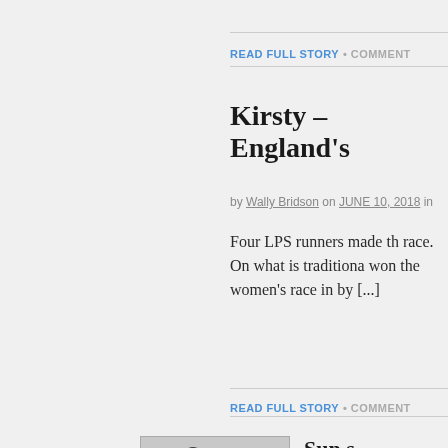READ FULL STORY • COMMENT
Kirsty – England's
by Wally Bridson on JUNE 10, 2018 in
Four LPS runners made the race. On what is traditionally won the women's race in by [...]
READ FULL STORY • COMMENT
[Figure (photo): Two people standing together, one in a black shirt and sunglasses, one in a green shirt]
Sun s wins ...